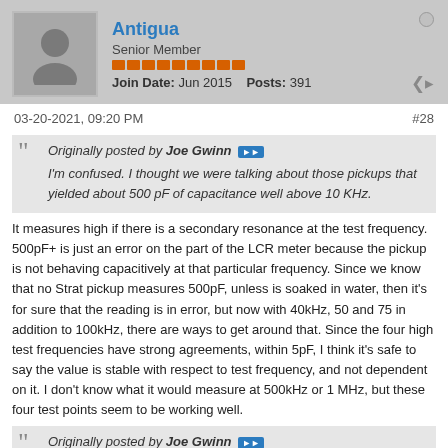Antigua | Senior Member | Join Date: Jun 2015 | Posts: 391
03-20-2021, 09:20 PM  #28
Originally posted by Joe Gwinn
I'm confused. I thought we were talking about those pickups that yielded about 500 pF of capacitance well above 10 KHz.
It measures high if there is a secondary resonance at the test frequency. 500pF+ is just an error on the part of the LCR meter because the pickup is not behaving capacitively at that particular frequency. Since we know that no Strat pickup measures 500pF, unless is soaked in water, then it's for sure that the reading is in error, but now with 40kHz, 50 and 75 in addition to 100kHz, there are ways to get around that. Since the four high test frequencies have strong agreements, within 5pF, I think it's safe to say the value is stable with respect to test frequency, and not dependent on it. I don't know what it would measure at 500kHz or 1 MHz, but these four test points seem to be working well.
Originally posted by Joe Gwinn